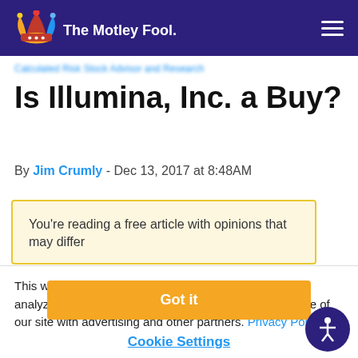The Motley Fool
Calculated Risk Stock Advisor and Research
Is Illumina, Inc. a Buy?
By Jim Crumly - Dec 13, 2017 at 8:48AM
You're reading a free article with opinions that may differ
This website uses cookies to deliver our services and to analyze traffic. We also share information about your use of our site with advertising and other partners. Privacy Policy
Got it
Cookie Settings